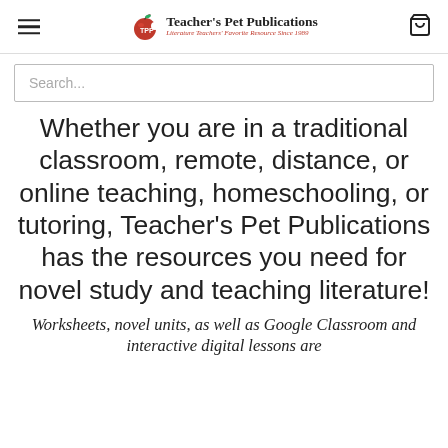Teacher's Pet Publications — Literature Teachers' Favorite Resource Since 1989
Search...
Whether you are in a traditional classroom, remote, distance, or online teaching, homeschooling, or tutoring, Teacher's Pet Publications has the resources you need for novel study and teaching literature!
Worksheets, novel units, as well as Google Classroom and interactive digital lessons are